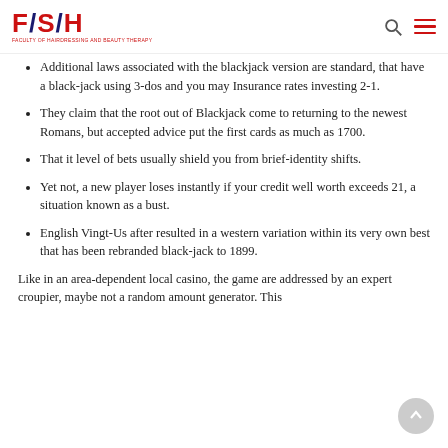FSH logo and navigation
Additional laws associated with the blackjack version are standard, that have a black-jack using 3-dos and you may Insurance rates investing 2-1.
They claim that the root out of Blackjack come to returning to the newest Romans, but accepted advice put the first cards as much as 1700.
That it level of bets usually shield you from brief-identity shifts.
Yet not, a new player loses instantly if your credit well worth exceeds 21, a situation known as a bust.
English Vingt-Us after resulted in a western variation within its very own best that has been rebranded black-jack to 1899.
Like in an area-dependent local casino, the game are addressed by an expert croupier, maybe not a random amount generator. This